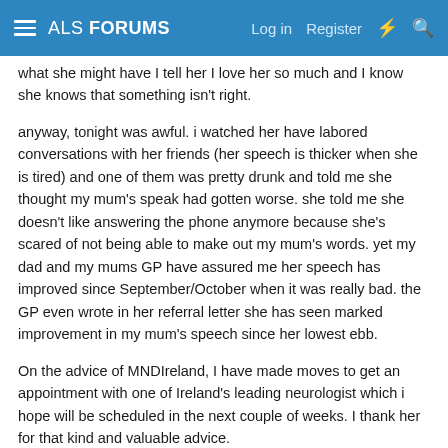ALS FORUMS  Log in  Register
what she might have I tell her I love her so much and I know she knows that something isn't right.
anyway, tonight was awful. i watched her have labored conversations with her friends (her speech is thicker when she is tired) and one of them was pretty drunk and told me she thought my mum's speak had gotten worse. she told me she doesn't like answering the phone anymore because she's scared of not being able to make out my mum's words. yet my dad and my mums GP have assured me her speech has improved since September/October when it was really bad. the GP even wrote in her referral letter she has seen marked improvement in my mum's speech since her lowest ebb.
On the advice of MNDIreland, I have made moves to get an appointment with one of Ireland's leading neurologist which i hope will be scheduled in the next couple of weeks. I thank her for that kind and valuable advice.
The referral letter included copies of the reports from the